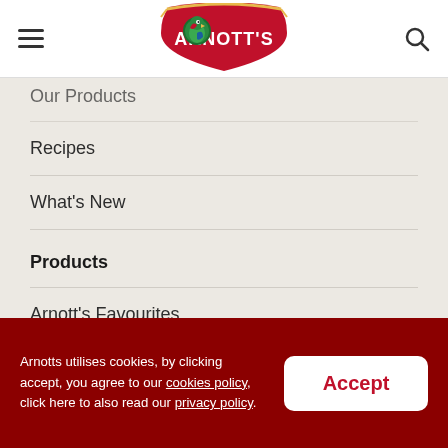[Figure (logo): Arnott's brand logo: red shield shape with parrot and gold banner, white 'ARNOTT'S' text]
Our Products
Recipes
What's New
Products
Arnott's Favourites
Chocolate Biscuits
Sweet Biscuits
Arnotts utilises cookies, by clicking accept, you agree to our cookies policy, click here to also read our privacy policy.